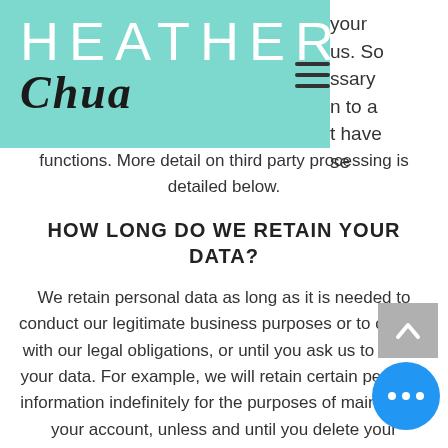[Figure (logo): Heather Chua logo on teal/mint background with hamburger menu icon]
your us. So ssary n to a t have se functions. More detail on third party processing is detailed below.
HOW LONG DO WE RETAIN YOUR DATA?
We retain personal data as long as it is needed to conduct our legitimate business purposes or to comply with our legal obligations, or until you ask us to delete your data. For example, we will retain certain personal information indefinitely for the purposes of maintaining your account, unless and until you delete your account. Data we gather for a specific and particular purpose, such as assisting law enforcement, and will